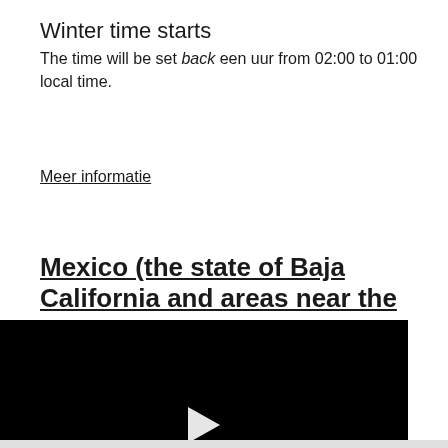Winter time starts
The time will be set back een uur from 02:00 to 01:00 local time.
Meer informatie
Mexico (the state of Baja California and areas near the
[Figure (screenshot): Black video player with white play button triangle in center]